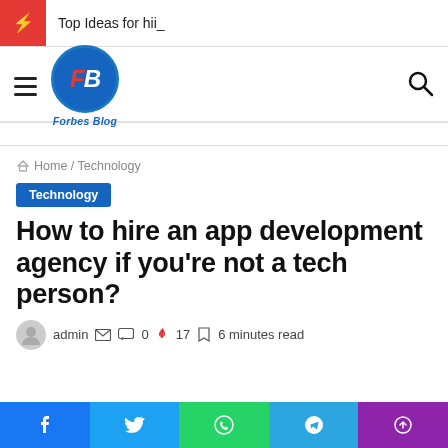Top Ideas for hii_
[Figure (logo): Forbes Blog logo — blue circle with FB initials and 'Forbes Blog' text below]
Home / Technology
Technology
How to hire an app development agency if you're not a tech person?
admin  0  17  6 minutes read
Facebook, Twitter, WhatsApp, Telegram, Phone social share bar